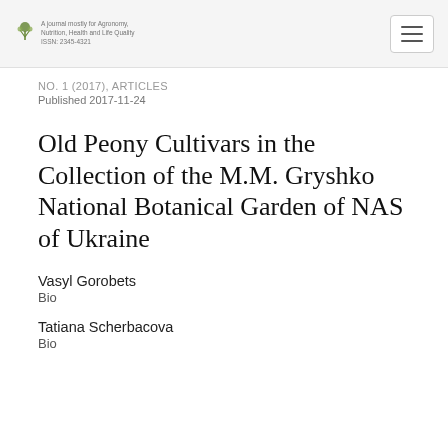A journal mostly for Agronomy, Nutrition, Health and Life Quality | [hamburger menu icon]
NO. 1 (2017), ARTICLES
Published 2017-11-24
Old Peony Cultivars in the Collection of the M.M. Gryshko National Botanical Garden of NAS of Ukraine
Vasyl Gorobets
Bio
Tatiana Scherbacova
Bio